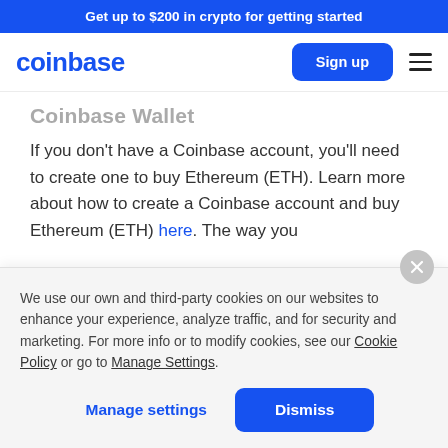Get up to $200 in crypto for getting started
[Figure (logo): Coinbase logo in blue, with Sign up button and hamburger menu]
Coinbase Wallet (partially visible, strikethrough-style faded heading)
If you don't have a Coinbase account, you'll need to create one to buy Ethereum (ETH). Learn more about how to create a Coinbase account and buy Ethereum (ETH) here. The way you
We use our own and third-party cookies on our websites to enhance your experience, analyze traffic, and for security and marketing. For more info or to modify cookies, see our Cookie Policy or go to Manage Settings.